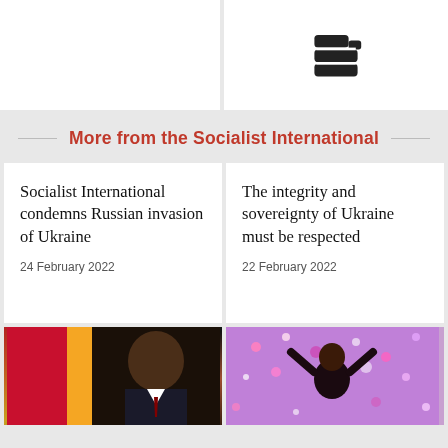[Figure (illustration): Top-left white card, partial view]
[Figure (illustration): Fist/solidarity icon in black outline on white card]
More from the Socialist International
Socialist International condemns Russian invasion of Ukraine
24 February 2022
The integrity and sovereignty of Ukraine must be respected
22 February 2022
[Figure (photo): Portrait of a man in suit in front of flag (red, yellow, green - Burkina Faso)]
[Figure (photo): Person at celebration event with colorful confetti, pink/purple tones]